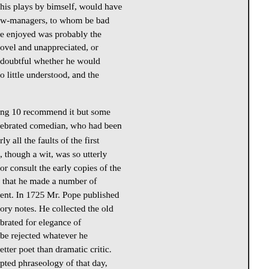his plays by bimself, would have w-managers, to whom be bad e enjoyed was probably the ovel and unappreciated, or doubtful whether he would o little understood, and the
ng 10 recommend it but some ebrated comedian, who had been rly all the faults of the first , though a wit, was so utterly or consult the early copies of the that he made a number of ent. In 1725 Mr. Pope published ory notes. He collected the old brated for elegance of be rejected whatever he etter poet than dramatic critic. pted phraseology of that day, as it was called, at pleasure. By be “revisited the glimpses of the obald ventured upon a similar son describes him as a man of